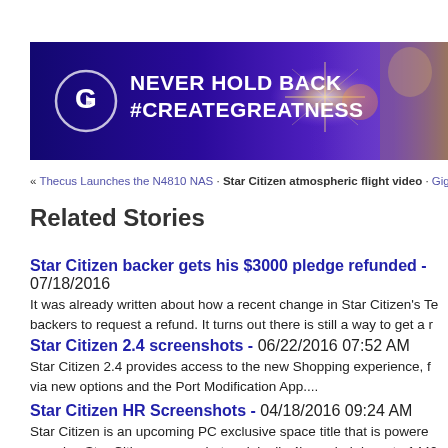[Figure (illustration): Banner advertisement with dark purple gradient background, circular logo with G play button icon on left, white bold text 'NEVER HOLD BACK #CREATEGREATNESS', starburst light effect, and partial figure of a person on the right.]
« Thecus Launches the N4810 NAS · Star Citizen atmospheric flight video · Gigabyte X99 a
Related Stories
Star Citizen backer gets his $3000 pledge refunded - 07/18/2016
It was already written about how a recent change in Star Citizen's Te backers to request a refund. It turns out there is still a way to get a r
Star Citizen 2.4 screenshots - 06/22/2016 07:52 AM
Star Citizen 2.4 provides access to the new Shopping experience, f via new options and the Port Modification App....
Star Citizen HR Screenshots - 04/18/2016 09:24 AM
Star Citizen is an upcoming PC exclusive space title that is powere amazing Star Citizen screenshots originally 4k, scaled down to 1440